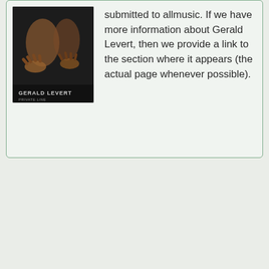[Figure (photo): Album cover for Gerald Levert showing dark background with hands and performer, text 'GERALD LEVERT' at bottom]
submitted to allmusic. If we have more information about Gerald Levert, then we provide a link to the section where it appears (the actual page whenever possible).